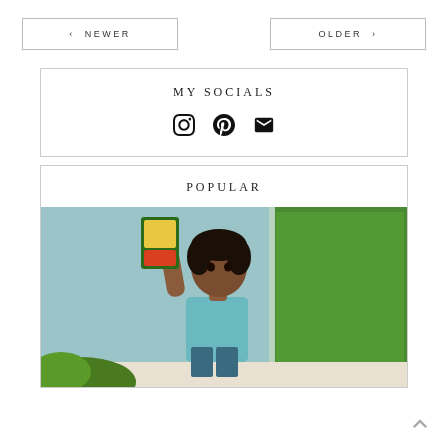‹ NEWER
OLDER ›
MY SOCIALS
[Figure (other): Social media icons: Instagram, Pinterest, Email]
POPULAR
[Figure (photo): Young boy holding a seed packet outdoors with green foliage in background]